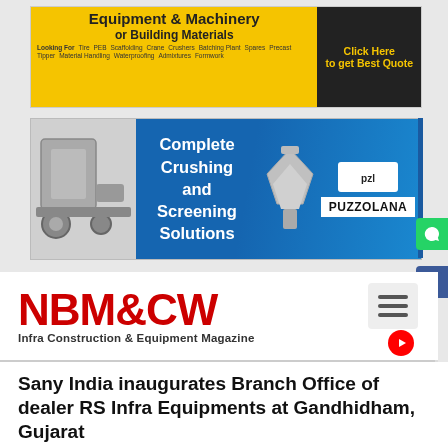[Figure (screenshot): Yellow banner advertisement for Equipment & Machinery or Building Materials with keywords like Crane, Crushers, Tipper, Batching Plant, Material Handling, Spares, Waterproofing, Tire, PEB, Scaffolding, Precast, Admixtures, Formwork. Black CTA box: Click Here to get Best Quote.]
[Figure (screenshot): Puzzolana blue banner ad showing crushing machinery on left and right, text: Complete Crushing and Screening Solutions, Puzzolana logo on right.]
[Figure (logo): NBM&CW Infra Construction & Equipment Magazine logo in red bold text with tagline below.]
Sany India inaugurates Branch Office of dealer RS Infra Equipments at Gandhidham, Gujarat
Sany India, which has two authorized dealers in Gujarat with 8 branch offices; has further strengthened its presence in the state by inaugurating a new branch office of its authorized dealer RS Infra Equipments at